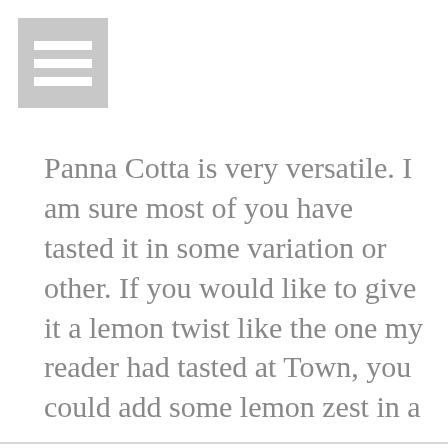[Figure (other): Hamburger menu icon — three horizontal white bars on a gray square background]
Panna Cotta is very versatile. I am sure most of you have tasted it in some variation or other. If you would like to give it a lemon twist like the one my reader had tasted at Town, you could add some lemon zest in a single swirly
We use cookies on our website to give you the most relevant experience by remembering your preferences and repeat visits. By clicking “Accept All”, you consent to the use of ALL the cookies. However, you may visit "Cookie Settings" to provide a controlled consent.
Cookie Settings
Accept All